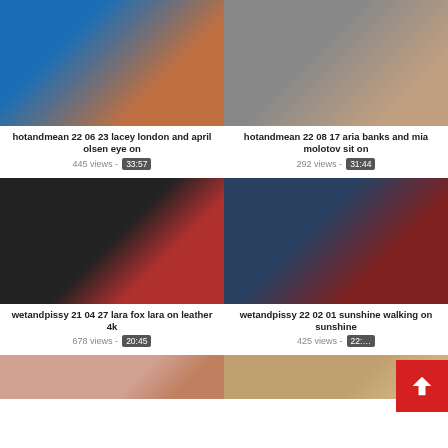[Figure (screenshot): Video thumbnail grid showing adult content video listings with thumbnails, titles, view counts, and durations]
hotandmean 22 06 23 lacey london and april olsen eye on
445 views - 33:57
hotandmean 22 08 17 aria banks and mia molotov sit on
292 views - 31:44
wetandpissy 21 04 27 lara fox lara on leather 4k
678 views - 20:45
wetandpissy 22 02 01 sunshine walking on sunshine
425 views - 22:...